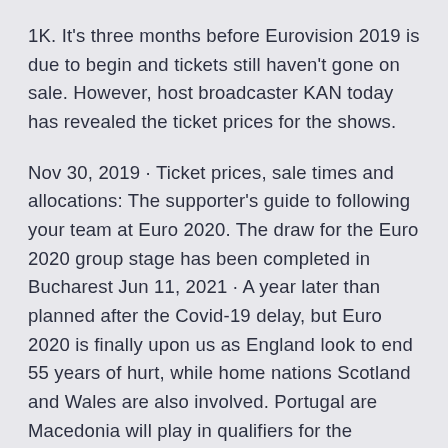1K. It's three months before Eurovision 2019 is due to begin and tickets still haven't gone on sale. However, host broadcaster KAN today has revealed the ticket prices for the shows.
Nov 30, 2019 · Ticket prices, sale times and allocations: The supporter's guide to following your team at Euro 2020. The draw for the Euro 2020 group stage has been completed in Bucharest Jun 11, 2021 · A year later than planned after the Covid-19 delay, but Euro 2020 is finally upon us as England look to end 55 years of hurt, while home nations Scotland and Wales are also involved. Portugal are Macedonia will play in qualifiers for the European Championship in 2020 and will also have a second chance to participate in the European Championship if the North Macedonia 2020/21 Tickets